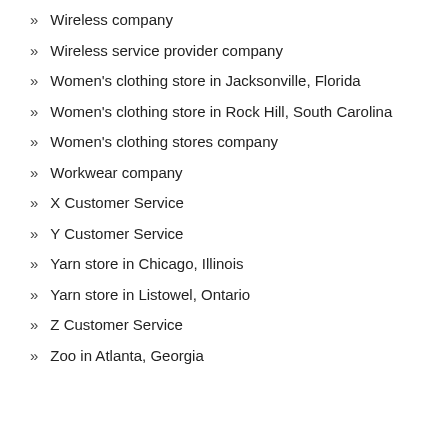Wireless company
Wireless service provider company
Women's clothing store in Jacksonville, Florida
Women's clothing store in Rock Hill, South Carolina
Women's clothing stores company
Workwear company
X Customer Service
Y Customer Service
Yarn store in Chicago, Illinois
Yarn store in Listowel, Ontario
Z Customer Service
Zoo in Atlanta, Georgia